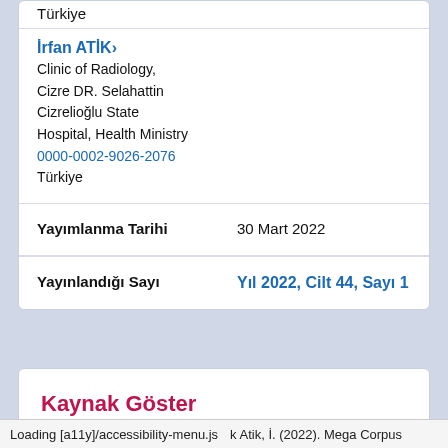Türkiye
İrfan ATİK›
Clinic of Radiology, Cizre DR. Selahattin Cizrelioğlu State Hospital, Health Ministry
0000-0002-9026-2076
Türkiye
Yayımlanma Tarihi	30 Mart 2022
Yayınlandığı Sayı	Yıl 2022, Cilt 44, Sayı 1
Kaynak Göster
Loading [a11y]/accessibility-menu.js    k Atik, İ. (2022). Mega Corpus